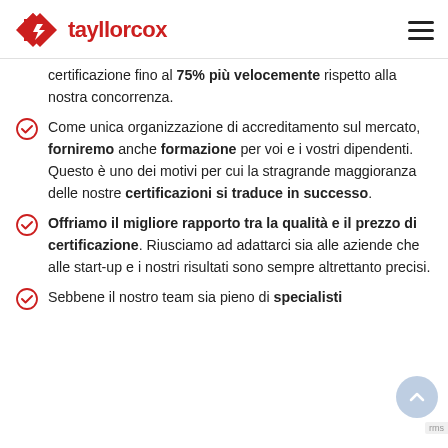tayllorcox
certificazione fino al 75% più velocemente rispetto alla nostra concorrenza.
Come unica organizzazione di accreditamento sul mercato, forniremo anche formazione per voi e i vostri dipendenti. Questo è uno dei motivi per cui la stragrande maggioranza delle nostre certificazioni si traduce in successo.
Offriamo il migliore rapporto tra la qualità e il prezzo di certificazione. Riusciamo ad adattarci sia alle aziende che alle start-up e i nostri risultati sono sempre altrettanto precisi.
Sebbene il nostro team sia pieno di specialisti